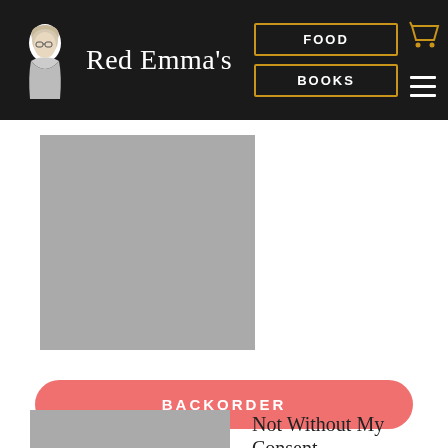[Figure (logo): Red Emma's bookstore logo: dark header bar with profile illustration of a woman and text 'Red Emma's', with FOOD and BOOKS navigation buttons bordered in gold, and cart/menu icons]
[Figure (photo): Gray placeholder rectangle representing a book cover image]
BACKORDER
[Figure (photo): Gray placeholder rectangle representing a second book cover image]
Not Without My Consent